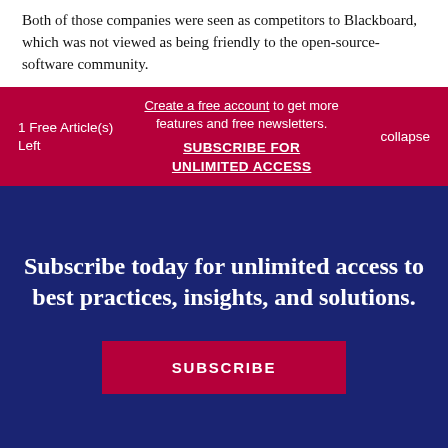Both of those companies were seen as competitors to Blackboard, which was not viewed as being friendly to the open-source-software community.
1 Free Article(s) Left
Create a free account to get more features and free newsletters. SUBSCRIBE FOR UNLIMITED ACCESS
collapse
Subscribe today for unlimited access to best practices, insights, and solutions.
SUBSCRIBE